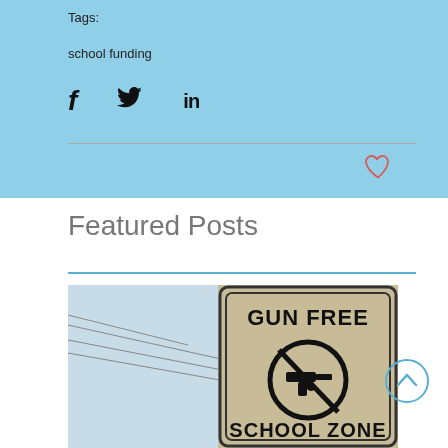Tags:
school funding
[Figure (other): Social share icons: Facebook (f), Twitter (bird), LinkedIn (in)]
Featured Posts
[Figure (photo): Photo of a street sign reading 'GUN FREE SCHOOL ZONE' with a gun crossed-out symbol]